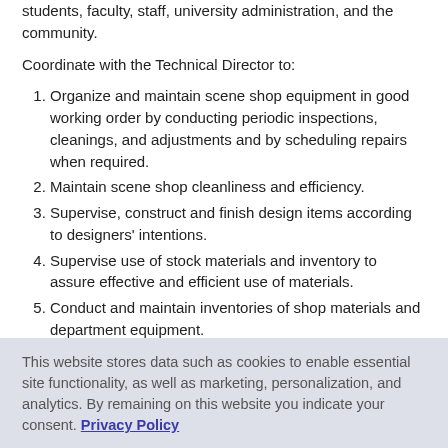students, faculty, staff, university administration, and the community.
Coordinate with the Technical Director to:
Organize and maintain scene shop equipment in good working order by conducting periodic inspections, cleanings, and adjustments and by scheduling repairs when required.
Maintain scene shop cleanliness and efficiency.
Supervise, construct and finish design items according to designers' intentions.
Supervise use of stock materials and inventory to assure effective and efficient use of materials.
Conduct and maintain inventories of shop materials and department equipment.
This website stores data such as cookies to enable essential site functionality, as well as marketing, personalization, and analytics. By remaining on this website you indicate your consent. Privacy Policy